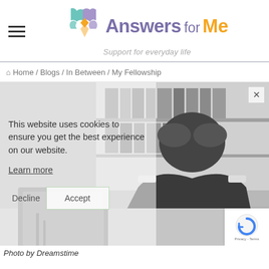[Figure (logo): Answers for Me logo with puzzle piece icon and tagline 'Support for everyday life']
Home / Blogs / In Between / My Fellowship
[Figure (photo): Black and white photo of a stressed man in a suit sitting at a desk with his head in his hands, with bookshelves in the background, overlaid with a cookie consent notice saying 'This website uses cookies to ensure you get the best experience on our website.' with Learn more link, Decline and Accept buttons, and a close X button]
Photo by Dreamstime